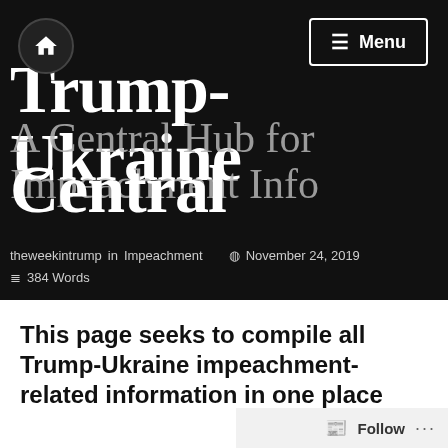Trump-Ukraine Central
A Central Hub for Impeachment Info
theweekintrump in Impeachment · November 24, 2019 · 384 Words
This page seeks to compile all Trump-Ukraine impeachment-related information in one place